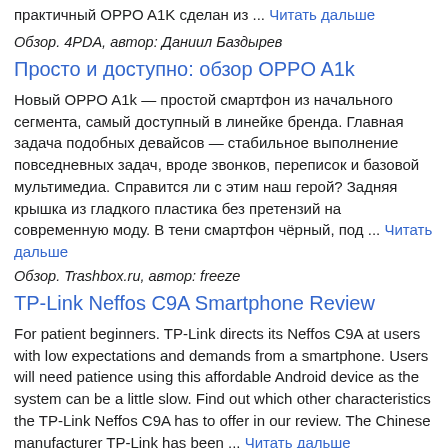практичный OPPO A1K сделан из ... Читать дальше
Обзор. 4PDA, автор: Даниил Баздырев
Просто и доступно: обзор OPPO A1k
Новый OPPO A1k — простой смартфон из начального сегмента, самый доступный в линейке бренда. Главная задача подобных девайсов — стабильное выполнение повседневных задач, вроде звонков, переписок и базовой мультимедиа. Справится ли с этим наш герой? Задняя крышка из гладкого пластика без претензий на современную моду. В тени смартфон чёрный, под ... Читать дальше
Обзор. Trashbox.ru, автор: freeze
TP-Link Neffos C9A Smartphone Review
For patient beginners. TP-Link directs its Neffos C9A at users with low expectations and demands from a smartphone. Users will need patience using this affordable Android device as the system can be a little slow. Find out which other characteristics the TP-Link Neffos C9A has to offer in our review. The Chinese manufacturer TP-Link has been ... Читать дальше
Обзор. NotebookCheck, автор: Mike Wobker